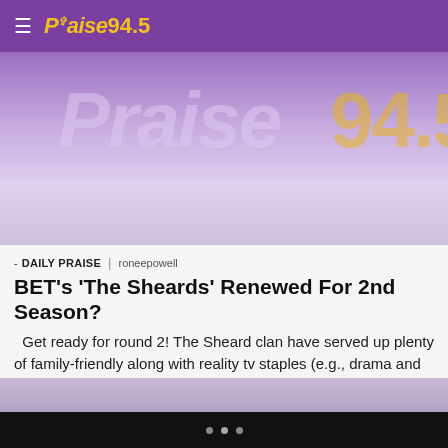Praise 94.5
[Figure (screenshot): Praise 94.5 radio station hero banner with large watermark text 'Praise 94.5' in purple and gold over a cloudy purple-tinted sky background.]
- DAILY PRAISE | roneepowell
BET's 'The Sheards' Renewed For 2nd Season?
Get ready for round 2! The Sheard clan have served up plenty of family-friendly along with reality tv staples (e.g., drama and conflict) this season; and according to BET, they'll now be back for season 2. Taking to twitter, the network confirmed that their hit faith-based series 'The Sheards' will indeed be back for a […]
[Figure (photo): Partial view of another article's image — purple-tinted sky with clouds.]
• • •